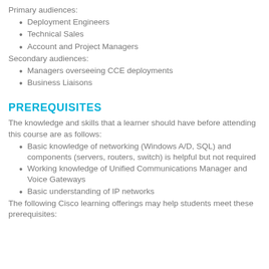Primary audiences:
Deployment Engineers
Technical Sales
Account and Project Managers
Secondary audiences:
Managers overseeing CCE deployments
Business Liaisons
PREREQUISITES
The knowledge and skills that a learner should have before attending this course are as follows:
Basic knowledge of networking (Windows A/D, SQL) and components (servers, routers, switch) is helpful but not required
Working knowledge of Unified Communications Manager and Voice Gateways
Basic understanding of IP networks
The following Cisco learning offerings may help students meet these prerequisites: